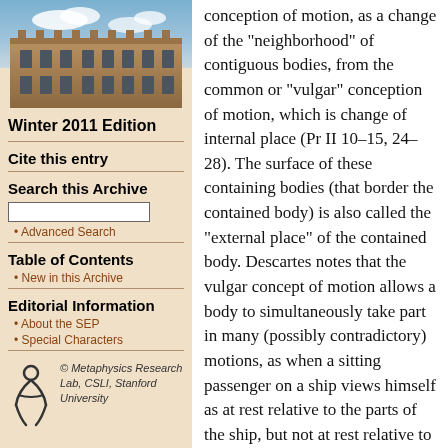[Figure (photo): Photograph of a stone university building with Gothic architecture under a partly cloudy sky]
Winter 2011 Edition
Cite this entry
Search this Archive
Advanced Search
Table of Contents
New in this Archive
Editorial Information
About the SEP
Special Characters
[Figure (logo): Metaphysics Research Lab, CSLI, Stanford University logo with stylized figure]
conception of motion, as a change of the “neighborhood” of contiguous bodies, from the common or “vulgar” conception of motion, which is change of internal place (Pr II 10–15, 24–28). The surface of these containing bodies (that border the contained body) is also called the “external place” of the contained body. Descartes notes that the vulgar concept of motion allows a body to simultaneously take part in many (possibly contradictory) motions, as when a sitting passenger on a ship views himself as at rest relative to the parts of the ship, but not at rest relative to the shore (Pr II 24). Yet, when motion is viewed as a